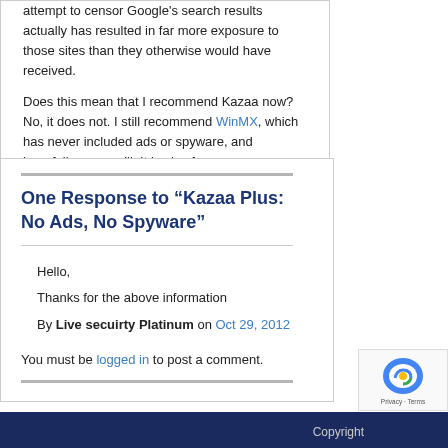attempt to censor Google's search results actually has resulted in far more exposure to those sites than they otherwise would have received.
Does this mean that I recommend Kazaa now? No, it does not. I still recommend WinMX, which has never included ads or spyware, and hopefully never will. It is also free.
http://www.spywareinfo.net/sep3,2003#kazaa
One Response to “Kazaa Plus: No Ads, No Spyware”
Hello,
Thanks for the above information
By Live secuirty Platinum on Oct 29, 2012
You must be logged in to post a comment.
Copyright